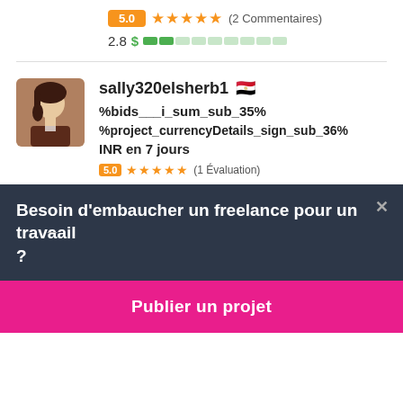5.0 ★★★★★ (2 Commentaires)
2.8 $ ████░░░░░░
sally320elsherb1 🇪🇬
%bids___i_sum_sub_35% %project_currencyDetails_sign_sub_36% INR en 7 jours
5.0 ★★★★★ (1 Évaluation)
Besoin d'embaucher un freelance pour un travail ?
Publier un projet